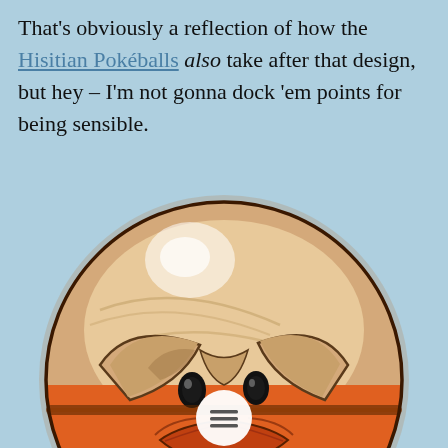That's obviously a reflection of how the Hisitian Pokéballs also take after that design, but hey – I'm not gonna dock 'em points for being sensible.
[Figure (illustration): Cartoon illustration of Voltorb (a round Pokémon resembling an angry Poké Ball) with a tan/beige upper half and orange lower half, showing an angry expression with furrowed brows and a frowning mouth. A white circular menu button with three horizontal lines is overlaid at the bottom center.]